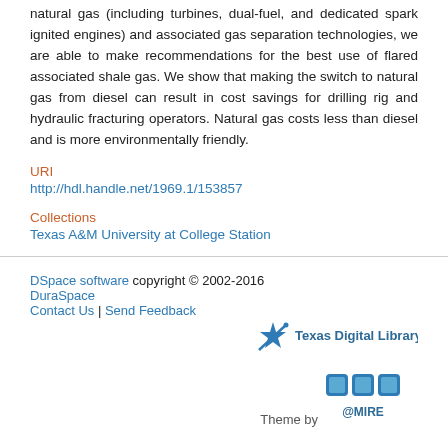natural gas (including turbines, dual-fuel, and dedicated spark ignited engines) and associated gas separation technologies, we are able to make recommendations for the best use of flared associated shale gas. We show that making the switch to natural gas from diesel can result in cost savings for drilling rig and hydraulic fracturing operators. Natural gas costs less than diesel and is more environmentally friendly.
URI
http://hdl.handle.net/1969.1/153857
Collections
Texas A&M University at College Station
DSpace software copyright © 2002-2016  DuraSpace | Contact Us | Send Feedback | Theme by @MIRE | Texas Digital Library